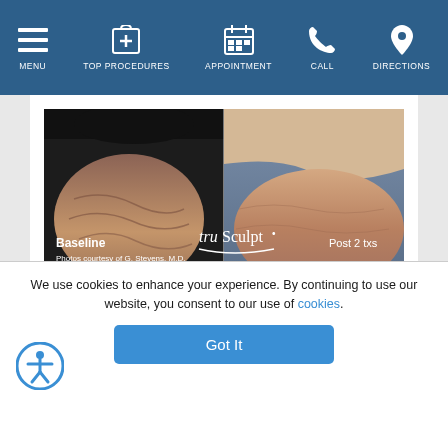MENU | TOP PROCEDURES | APPOINTMENT | CALL | DIRECTIONS
[Figure (photo): Before and after photo of truSculpt body contouring treatment. Left side labeled 'Baseline', right side labeled 'Post 2 txs'. Photos courtesy of G. Stevens, M.D. truSculpt logo visible.]
[Figure (photo): Before and after photo showing back/torso area. Left side shows before treatment, right side shows after treatment result.]
We use cookies to enhance your experience. By continuing to use our website, you consent to our use of cookies.
Got It